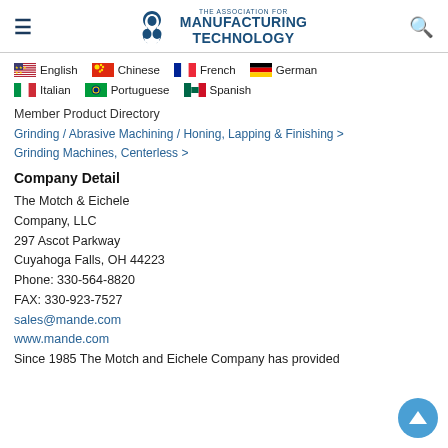THE ASSOCIATION FOR MANUFACTURING TECHNOLOGY
[Figure (logo): AMT - The Association for Manufacturing Technology logo with three interlocking gears/loops symbol]
English  Chinese  French  German  Italian  Portuguese  Spanish
Member Product Directory
Grinding / Abrasive Machining / Honing, Lapping & Finishing > Grinding Machines, Centerless >
Company Detail
The Motch & Eichele Company, LLC
297 Ascot Parkway
Cuyahoga Falls, OH 44223
Phone: 330-564-8820
FAX: 330-923-7527
sales@mande.com
www.mande.com
Since 1985 The Motch and Eichele Company has provided